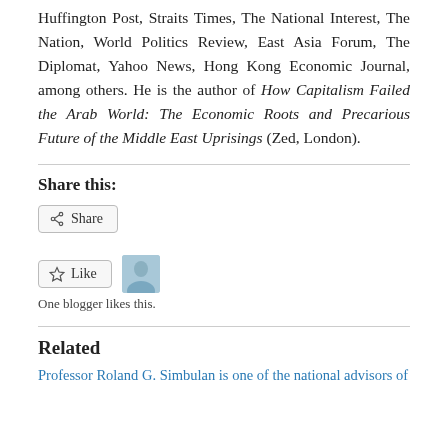Huffington Post, Straits Times, The National Interest, The Nation, World Politics Review, East Asia Forum, The Diplomat, Yahoo News, Hong Kong Economic Journal, among others. He is the author of How Capitalism Failed the Arab World: The Economic Roots and Precarious Future of the Middle East Uprisings (Zed, London).
Share this:
[Figure (other): Share button with share icon]
[Figure (other): Like button with star icon and blogger avatar thumbnail]
One blogger likes this.
Related
Professor Roland G. Simbulan is one of the national advisors of